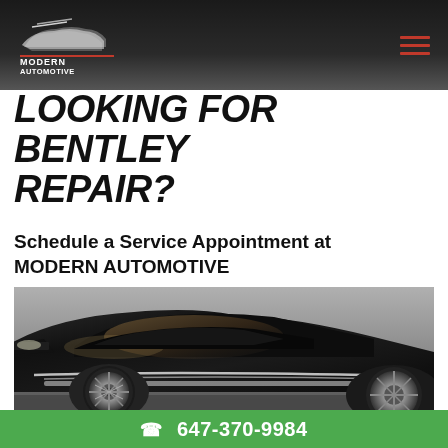Modern Automotive logo and navigation
LOOKING FOR BENTLEY REPAIR?
Schedule a Service Appointment at MODERN AUTOMOTIVE
[Figure (photo): Close-up of a luxury black car (Bentley) showing glossy body, chrome trim, and silver alloy wheel, shot from low angle in an urban setting]
647-370-9984